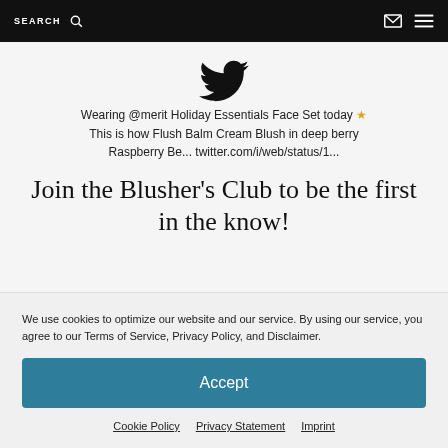SEARCH
[Figure (logo): Twitter bird logo icon in black]
Wearing @merit Holiday Essentials Face Set today ★ This is how Flush Balm Cream Blush in deep berry Raspberry Be... twitter.com/i/web/status/1...
Join the Blusher's Club to be the first in the know!
We use cookies to optimize our website and our service. By using our service, you agree to our Terms of Service, Privacy Policy, and Disclaimer.
Accept
Cookie Policy   Privacy Statement   Imprint